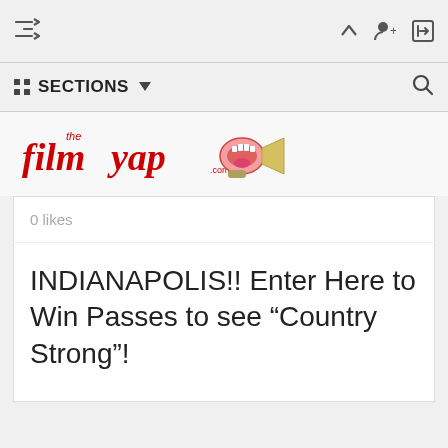Navigation bar with shuffle, up arrow, add user, and sign-in icons
SECTIONS ▼  [search icon]
[Figure (logo): The Film Yap logo with stylized red italic text 'film yap' and a megaphone with an open mouth graphic]
0 likes
INDIANAPOLIS!! Enter Here to Win Passes to see “Country Strong”!